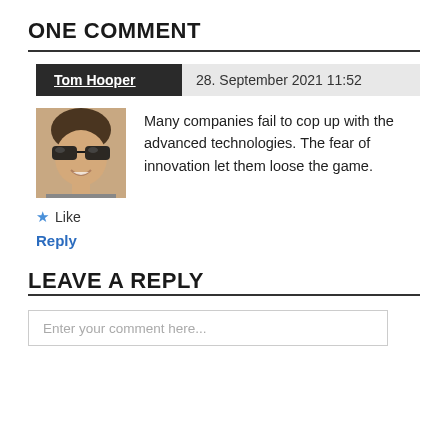ONE COMMENT
Tom Hooper   28. September 2021 11:52
[Figure (photo): Avatar photo of Tom Hooper, a man wearing sunglasses, smiling]
Many companies fail to cop up with the advanced technologies. The fear of innovation let them loose the game.
★ Like
Reply
LEAVE A REPLY
Enter your comment here...